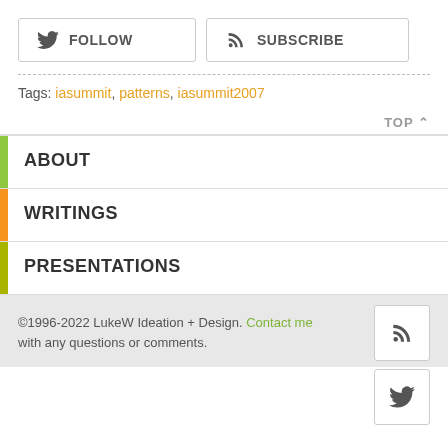FOLLOW  SUBSCRIBE (buttons)
Tags: iasummit, patterns, iasummit2007
TOP ∧
ABOUT
WRITINGS
PRESENTATIONS
©1996-2022 LukeW Ideation + Design. Contact me with any questions or comments.